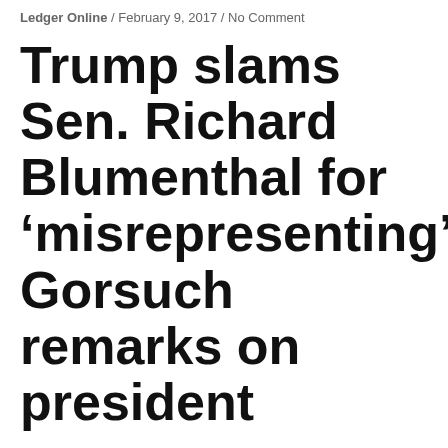Ledger Online / February 9, 2017 / No Comment
Trump slams Sen. Richard Blumenthal for 'misrepresenting' Gorsuch remarks on president
Social share buttons: Facebook, Twitter, Google+, Pinterest, LinkedIn, Tumblr, Reddit